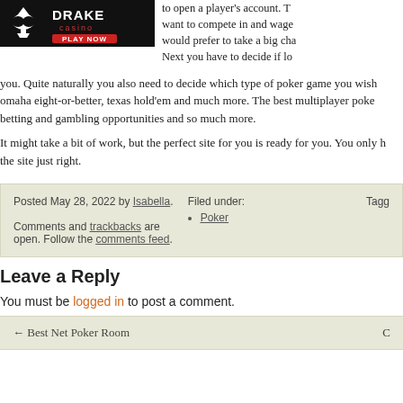[Figure (logo): Drake Casino banner ad with spade logo and PLAY NOW button]
to open a player's account. T... want to compete in and wage... would prefer to take a big cha... Next you have to decide if lo... you. Quite naturally you also need to decide which type of poker game you wish omaha eight-or-better, texas hold'em and much more. The best multiplayer poke betting and gambling opportunities and so much more.
It might take a bit of work, but the perfect site for you is ready for you. You only h the site just right.
Posted May 28, 2022 by Isabella. Comments and trackbacks are open. Follow the comments feed. Filed under: Poker Tagged
Leave a Reply
You must be logged in to post a comment.
← Best Net Poker Room Co...